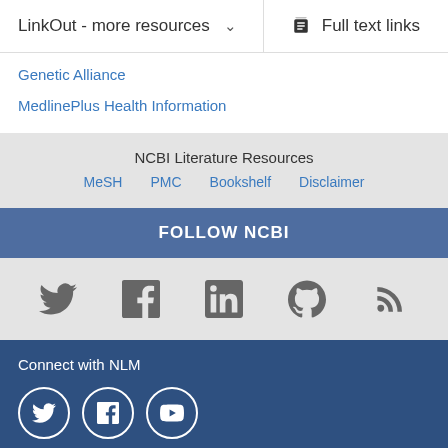LinkOut - more resources
Full text links
Genetic Alliance
MedlinePlus Health Information
NCBI Literature Resources
MeSH
PMC
Bookshelf
Disclaimer
FOLLOW NCBI
[Figure (infographic): Social media icons: Twitter, Facebook, LinkedIn, GitHub, RSS]
Connect with NLM
[Figure (infographic): Social media circle icons: Twitter, Facebook, YouTube]
National Library of Medicine